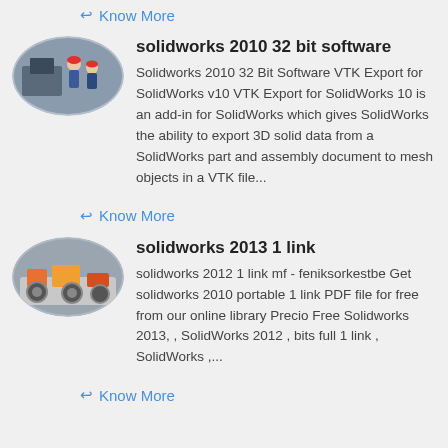Know More
solidworks 2010 32 bit software
[Figure (photo): Oval photo of workers in a factory/industrial setting with machinery]
Solidworks 2010 32 Bit Software VTK Export for SolidWorks v10 VTK Export for SolidWorks 10 is an add-in for SolidWorks which gives SolidWorks the ability to export 3D solid data from a SolidWorks part and assembly document to mesh objects in a VTK file...
Know More
solidworks 2013 1 link
[Figure (photo): Oval photo of industrial equipment/machinery on a factory floor]
solidworks 2012 1 link mf - feniksorkestbe Get solidworks 2010 portable 1 link PDF file for free from our online library Precio Free Solidworks 2013, , SolidWorks 2012 , bits full 1 link , SolidWorks ,...
Know More